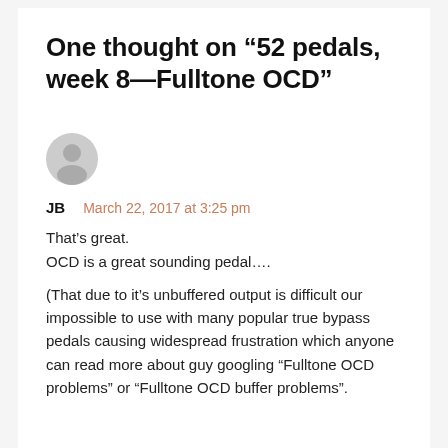One thought on “52 pedals, week 8—Fulltone OCD”
[Figure (illustration): Gray avatar/user icon circle for commenter JB]
JB   March 22, 2017 at 3:25 pm
That’s great.
OCD is a great sounding pedal….

(That due to it’s unbuffered output is difficult our impossible to use with many popular true bypass pedals causing widespread frustration which anyone can read more about guy googling “Fulltone OCD problems” or “Fulltone OCD buffer problems”.